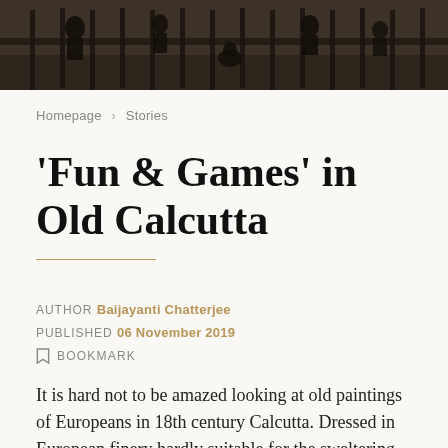[Figure (photo): Dark sepia-toned historic photograph showing silhouettes of people behind iron railings or a fence, partially cropped at the top of the page.]
Homepage > Stories
'Fun & Games' in Old Calcutta
AUTHOR Baijayanti Chatterjee
PUBLISHED 06 November 2019
BOOKMARK
It is hard not to be amazed looking at old paintings of Europeans in 18th century Calcutta. Dressed in European finery hardly suitable for the sweltering